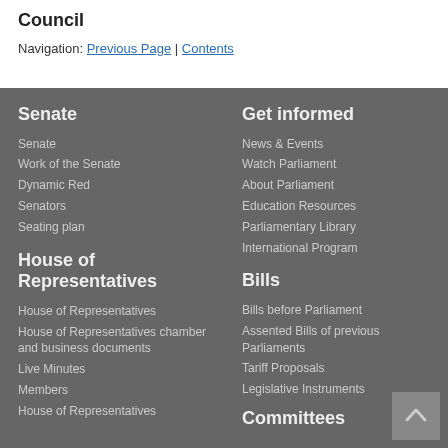Council
Navigation: Previous Page | Contents
Senate
Senate
Work of the Senate
Dynamic Red
Senators
Seating plan
House of Representatives
House of Representatives
House of Representatives chamber and business documents
Live Minutes
Members
House of Representatives
Get informed
News & Events
Watch Parliament
About Parliament
Education Resources
Parliamentary Library
International Program
Bills
Bills before Parliament
Assented Bills of previous Parliaments
Tariff Proposals
Legislative Instruments
Committees